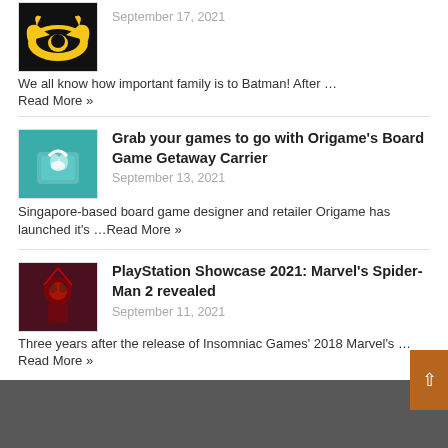September 17, 2021
We all know how important family is to Batman! After …
Read More »
Grab your games to go with Origame's Board Game Getaway Carrier
September 13, 2021
Singapore-based board game designer and retailer Origame has launched it's …Read More »
PlayStation Showcase 2021: Marvel's Spider-Man 2 revealed
September 11, 2021
Three years after the release of Insomniac Games' 2018 Marvel's …
Read More »
Here Be Tweets